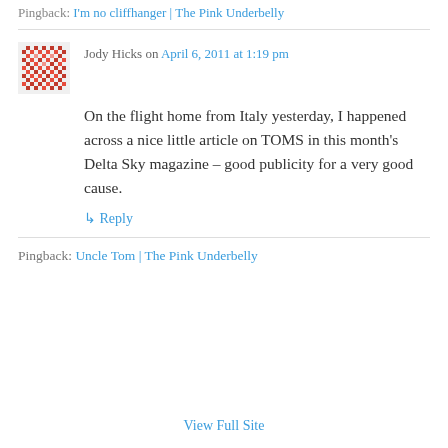Pingback: I'm no cliffhanger | The Pink Underbelly
Jody Hicks on April 6, 2011 at 1:19 pm
On the flight home from Italy yesterday, I happened across a nice little article on TOMS in this month's Delta Sky magazine – good publicity for a very good cause.
↳ Reply
Pingback: Uncle Tom | The Pink Underbelly
View Full Site